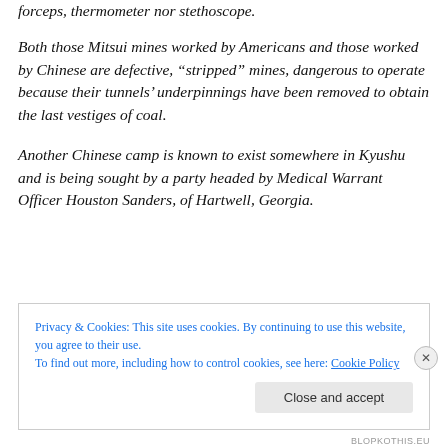forceps, thermometer nor stethoscope.
Both those Mitsui mines worked by Americans and those worked by Chinese are defective, “stripped” mines, dangerous to operate because their tunnels’ underpinnings have been removed to obtain the last vestiges of coal.
Another Chinese camp is known to exist somewhere in Kyushu and is being sought by a party headed by Medical Warrant Officer Houston Sanders, of Hartwell, Georgia.
Privacy & Cookies: This site uses cookies. By continuing to use this website, you agree to their use.
To find out more, including how to control cookies, see here: Cookie Policy